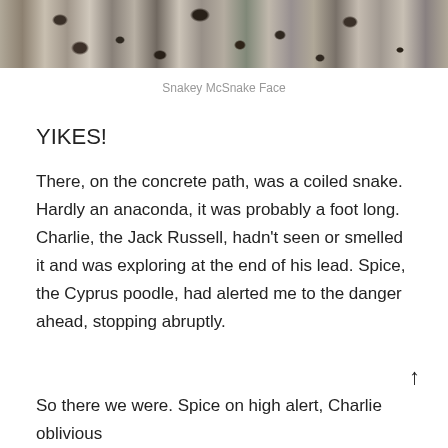[Figure (photo): Close-up photo of granite or speckled stone texture with dark and light mottled pattern]
Snakey McSnake Face
YIKES!
There, on the concrete path, was a coiled snake. Hardly an anaconda, it was probably a foot long. Charlie, the Jack Russell, hadn't seen or smelled it and was exploring at the end of his lead. Spice, the Cyprus poodle, had alerted me to the danger ahead, stopping abruptly.
So there we were. Spice on high alert, Charlie oblivious